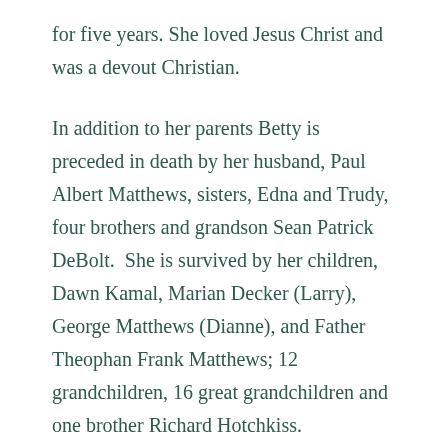for five years. She loved Jesus Christ and was a devout Christian.
In addition to her parents Betty is preceded in death by her husband, Paul Albert Matthews, sisters, Edna and Trudy, four brothers and grandson Sean Patrick DeBolt.  She is survived by her children, Dawn Kamal, Marian Decker (Larry), George Matthews (Dianne), and Father Theophan Frank Matthews; 12 grandchildren, 16 great grandchildren and one brother Richard Hotchkiss.
A memorial service will be held Friday, July 27, 2018 at 11:00 a.m. at Tharp Funeral Home